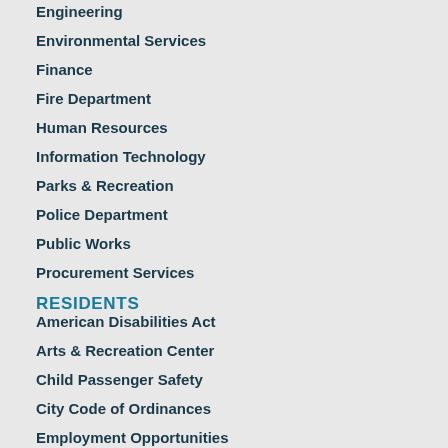Engineering
Environmental Services
Finance
Fire Department
Human Resources
Information Technology
Parks & Recreation
Police Department
Public Works
Procurement Services
RESIDENTS
American Disabilities Act
Arts & Recreation Center
Child Passenger Safety
City Code of Ordinances
Employment Opportunities
FEMA Floodzones
Garbage & Recycle